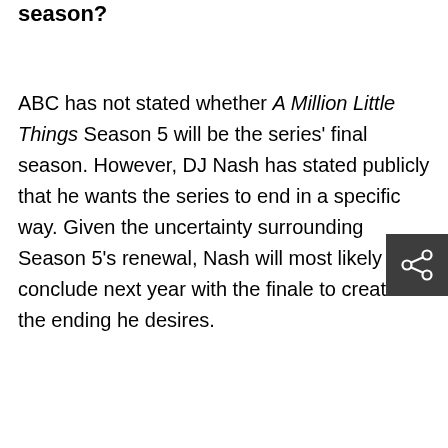Is A Million Little Things Season 5 the final season?
ABC has not stated whether A Million Little Things Season 5 will be the series' final season. However, DJ Nash has stated publicly that he wants the series to end in a specific way. Given the uncertainty surrounding Season 5's renewal, Nash will most likely conclude next year with the finale to create the ending he desires.